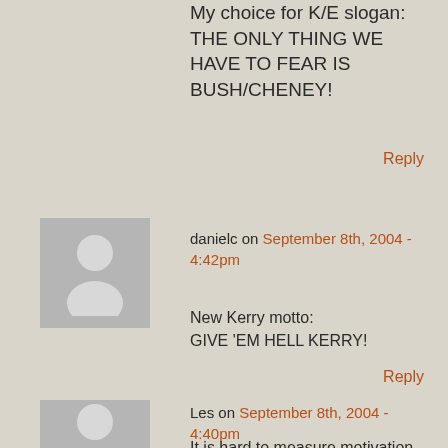My choice for K/E slogan: THE ONLY THING WE HAVE TO FEAR IS BUSH/CHENEY!
Reply
danielc on September 8th, 2004 - 4:42pm
New Kerry motto:
GIVE 'EM HELL KERRY!
Reply
[Figure (illustration): Generic user avatar placeholder showing a grey silhouette of a person (circle head and rounded body) on a grey background]
Les on September 8th, 2004 - 4:40pm
It is hard to measure motivation of the
[Figure (illustration): Generic user avatar placeholder showing a grey silhouette of a person (circle head and rounded body) on a grey background]